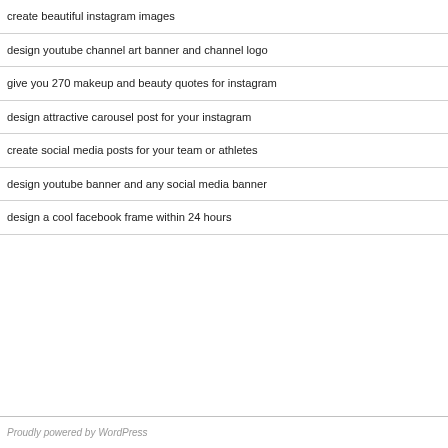create beautiful instagram images
design youtube channel art banner and channel logo
give you 270 makeup and beauty quotes for instagram
design attractive carousel post for your instagram
create social media posts for your team or athletes
design youtube banner and any social media banner
design a cool facebook frame within 24 hours
Proudly powered by WordPress